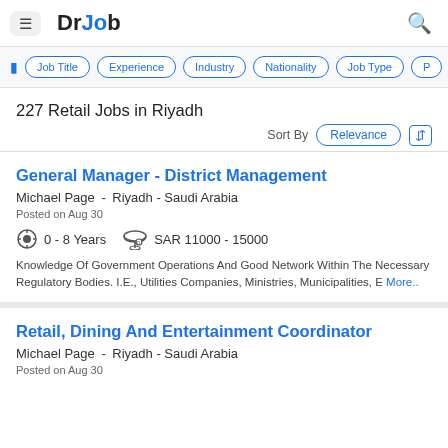DrJob
Job Title
Experience
Industry
Nationality
Job Type
227 Retail Jobs in Riyadh
Sort By Relevance
General Manager - District Management
Michael Page - Riyadh - Saudi Arabia
Posted on Aug 30
0 - 8 Years
SAR 11000 - 15000
Knowledge Of Government Operations And Good Network Within The Necessary Regulatory Bodies. I.E., Utilities Companies, Ministries, Municipalities, E More..
Retail, Dining And Entertainment Coordinator
Michael Page - Riyadh - Saudi Arabia
Posted on Aug 30